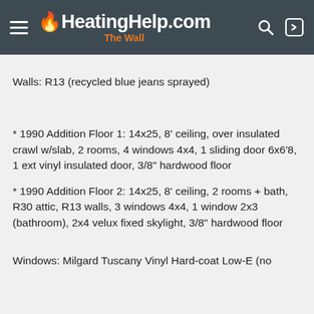HeatingHelp.com The Wall
Walls: R13 (recycled blue jeans sprayed)
* 1990 Addition Floor 1: 14x25, 8' ceiling, over insulated crawl w/slab, 2 rooms, 4 windows 4x4, 1 sliding door 6x6'8, 1 ext vinyl insulated door, 3/8" hardwood floor
* 1990 Addition Floor 2: 14x25, 8' ceiling, 2 rooms + bath, R30 attic, R13 walls, 3 windows 4x4, 1 window 2x3 (bathroom), 2x4 velux fixed skylight, 3/8" hardwood floor
Windows: Milgard Tuscany Vinyl Hard-coat Low-E (no